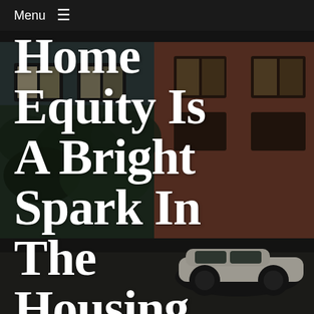Menu ≡
[Figure (photo): Street-level photograph of colourful European townhouses with ivy-covered facades and a vintage car parked in front, used as a hero background image for a housing market article.]
Home Equity Is A Bright Spark In The Housing Market